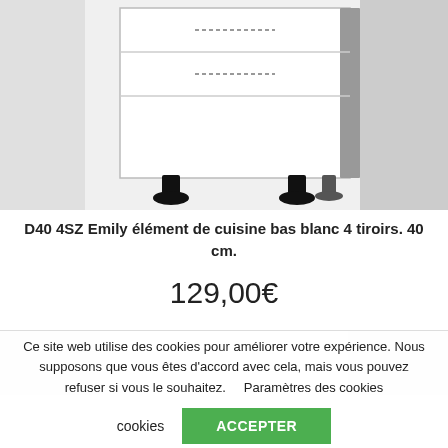[Figure (illustration): A white kitchen base cabinet unit (D40 4SZ Emily) with 4 drawers shown in line-drawing style with grey side panel and adjustable feet, displayed on a light grey background with darker grey side panels on left and right.]
D40 4SZ Emily élément de cuisine bas blanc 4 tiroirs. 40 cm.
129,00€
Ce site web utilise des cookies pour améliorer votre expérience. Nous supposons que vous êtes d'accord avec cela, mais vous pouvez refuser si vous le souhaitez.    Paramètres des cookies